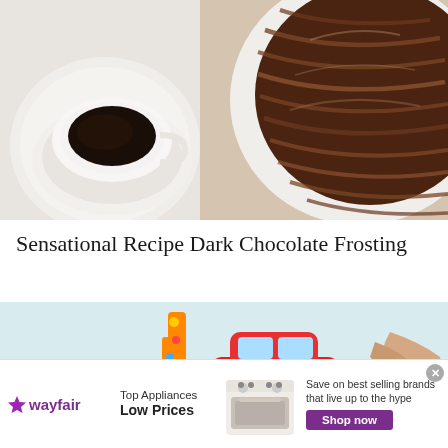[Figure (photo): Top-down view of a white coffee cup with dark coffee on the left, and a chocolate frosted cake with ridged frosting pattern on a white plate on the right, against a white background]
Sensational Recipe Dark Chocolate Frosting
[Figure (photo): A birthday cake decorated with a red toy car and a colorful number 1 candle on a blue cake board, with a person's hands visible in background]
[Figure (infographic): Wayfair advertisement banner: logo with purple star, Top Appliances Low Prices text, image of a range/oven, Save on best selling brands that live up to the hype, Shop now purple button]